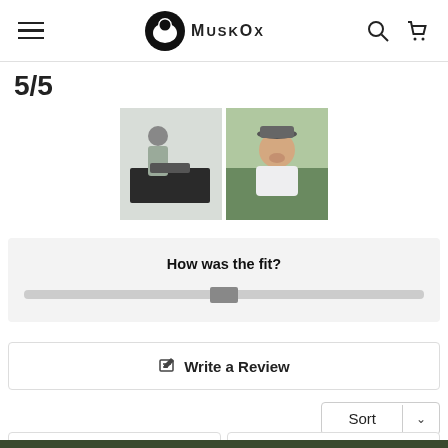MuskOx — navigation bar with hamburger menu, logo, search and cart icons
5/5
[Figure (photo): Two thumbnail photos side by side: left shows a man standing indoors holding clothing over a dark table; right shows an older man smiling outdoors wearing a white collared shirt and a cap.]
How was the fit?
Write a Review
Sort
05/21/2022
02/03/2022